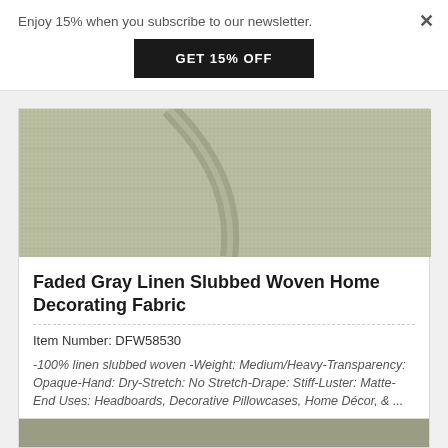Enjoy 15% when you subscribe to our newsletter.
GET 15% OFF
[Figure (photo): Close-up photo of faded gray linen slubbed woven fabric with a diagonal fold, showing textured weave.]
Faded Gray Linen Slubbed Woven Home Decorating Fabric
Item Number: DFW58530
-100% linen slubbed woven -Weight: Medium/Heavy-Transparency: Opaque-Hand: Dry-Stretch: No Stretch-Drape: Stiff-Luster: Matte-End Uses: Headboards, Decorative Pillowcases, Home Décor, & ...
$24.95 / Yard
[Figure (photo): Partial view of another fabric product card at the bottom of the page.]